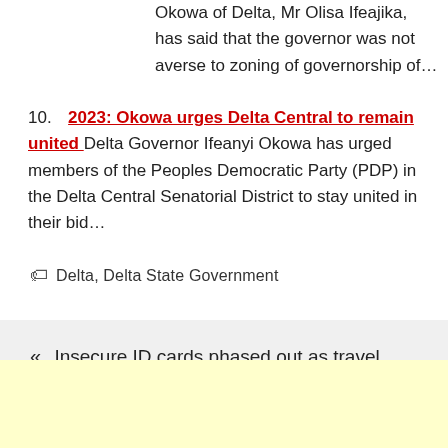Okowa of Delta, Mr Olisa Ifeajika, has said that the governor was not averse to zoning of governorship of...
10. 2023: Okowa urges Delta Central to remain united Delta Governor Ifeanyi Okowa has urged members of the Peoples Democratic Party (PDP) in the Delta Central Senatorial District to stay united in their bid...
Delta, Delta State Government
« Insecure ID cards phased out as travel document to UK